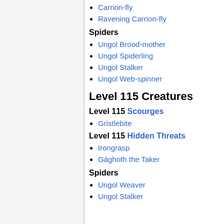Carrion-fly
Ravening Carrion-fly
Spiders
Ungol Brood-mother
Ungol Spiderling
Ungol Stalker
Ungol Web-spinner
Level 115 Creatures
Level 115 Scourges
Gristlebite
Level 115 Hidden Threats
Irongrasp
Gághoth the Taker
Spiders
Ungol Weaver
Ungol Stalker